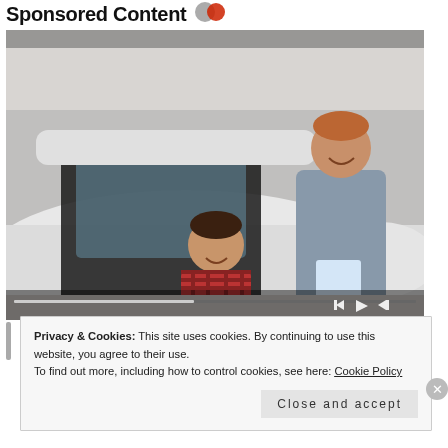Sponsored Content
[Figure (photo): A car salesman leaning into an open car door, smiling and talking to a seated customer in a white car at a dealership showroom. Media player controls (previous, play, next) visible at the bottom right of the image, with a progress bar at the bottom.]
Privacy & Cookies: This site uses cookies. By continuing to use this website, you agree to their use.
To find out more, including how to control cookies, see here: Cookie Policy
Close and accept